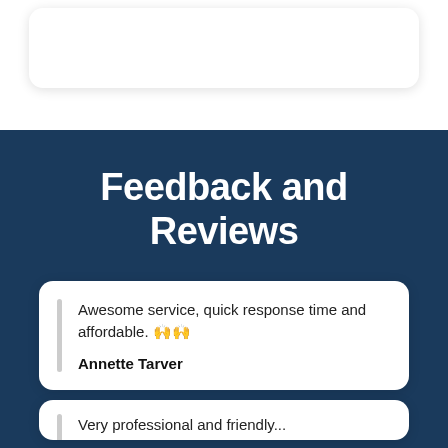Feedback and Reviews
Awesome service, quick response time and affordable. 🙌🙌
Annette Tarver